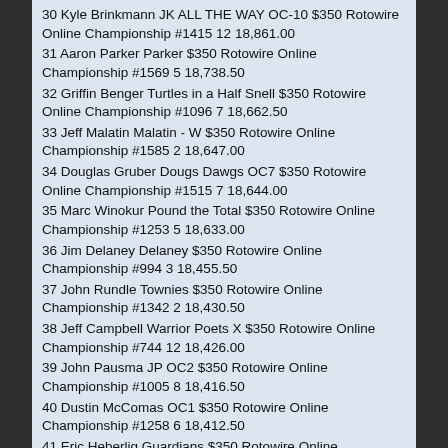30 Kyle Brinkmann JK ALL THE WAY OC-10 $350 Rotowire Online Championship #1415 12 18,861.00
31 Aaron Parker Parker $350 Rotowire Online Championship #1569 5 18,738.50
32 Griffin Benger Turtles in a Half Snell $350 Rotowire Online Championship #1096 7 18,662.50
33 Jeff Malatin Malatin - W $350 Rotowire Online Championship #1585 2 18,647.00
34 Douglas Gruber Dougs Dawgs OC7 $350 Rotowire Online Championship #1515 7 18,644.00
35 Marc Winokur Pound the Total $350 Rotowire Online Championship #1253 5 18,633.00
36 Jim Delaney Delaney $350 Rotowire Online Championship #994 3 18,455.50
37 John Rundle Townies $350 Rotowire Online Championship #1342 2 18,430.50
38 Jeff Campbell Warrior Poets X $350 Rotowire Online Championship #744 12 18,426.00
39 John Pausma JP OC2 $350 Rotowire Online Championship #1005 8 18,416.50
40 Dustin McComas OC1 $350 Rotowire Online Championship #1258 6 18,412.50
41 Eric Heberlig Guardians $350 Rotowire Online Championship #1210 3 18,409.50
42 Zachary Waxman Waxman $350 Rotowire Online